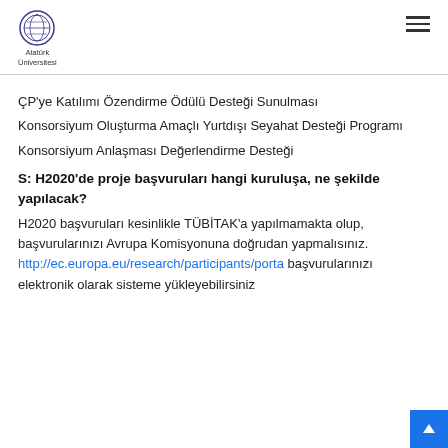Atatürk Üniversitesi
ÇP'ye Katılımı Özendirme Ödülü Desteği Sunulması
Konsorsiyum Oluşturma Amaçlı Yurtdışı Seyahat Desteği Programı
Konsorsiyum Anlaşması Değerlendirme Desteği
S: H2020'de proje başvuruları hangi kuruluşa, ne şekilde yapılacak?
H2020 başvuruları kesinlikle TÜBİTAK'a yapılmamakta olup, başvurularınızı Avrupa Komisyonuna doğrudan yapmalısınız. http://ec.europa.eu/research/participants/porta başvurularınızı elektronik olarak sisteme yükleyebilirsiniz